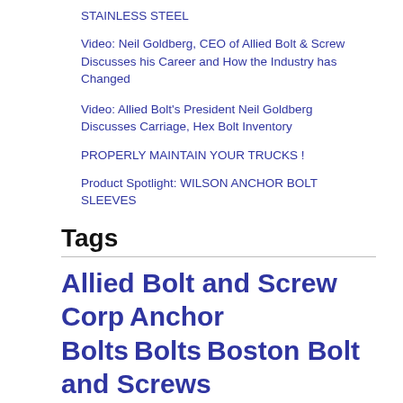STAINLESS STEEL
Video: Neil Goldberg, CEO of Allied Bolt & Screw Discusses his Career and How the Industry has Changed
Video: Allied Bolt's President Neil Goldberg Discusses Carriage, Hex Bolt Inventory
PROPERLY MAINTAIN YOUR TRUCKS !
Product Spotlight: WILSON ANCHOR BOLT SLEEVES
Tags
Allied Bolt and Screw Corp Anchor Bolts Bolts Boston Bolt and Screws Boston Construction Supplies Brass Bronze Carriage Bolts Chicago Bolt & Screw Deck Screws F1554 Grade 55 Threaded Rod F1554 Plain Steel Bolts F1554 Plain Steel Nuts F1554 Plain Steel Rods F1554